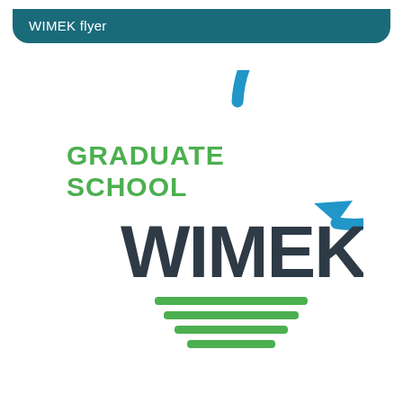WIMEK flyer
[Figure (logo): Graduate School WIMEK logo: green text 'GRADUATE SCHOOL' on the left, large dark grey bold text 'WIMEK' in the center, surrounded by a blue circular arrow icon with a downward arrow at top right, and three horizontal green lines (like a field/water symbol) at the bottom inside the circle.]